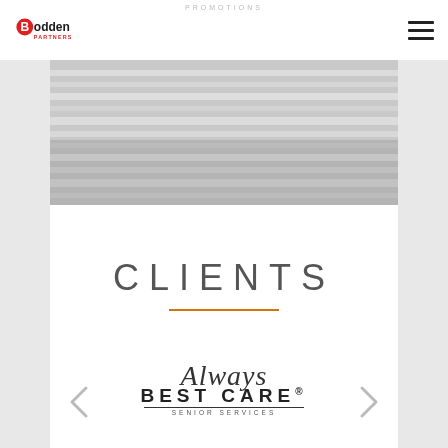PROMOTIONS
[Figure (logo): Bodden Partners logo with red circle on letter B]
[Figure (photo): Gray banner image showing horizontal lines/blinds texture]
CLIENTS
[Figure (logo): Always Best Care Senior Services logo in script and block lettering]